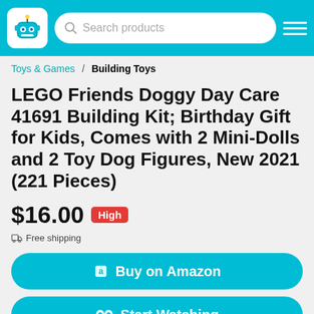Search products
Toys & Games / Building Toys
LEGO Friends Doggy Day Care 41691 Building Kit; Birthday Gift for Kids, Comes with 2 Mini-Dolls and 2 Toy Dog Figures, New 2021 (221 Pieces)
$16.00 High
Free shipping
Buy on Amazon
Start Watching